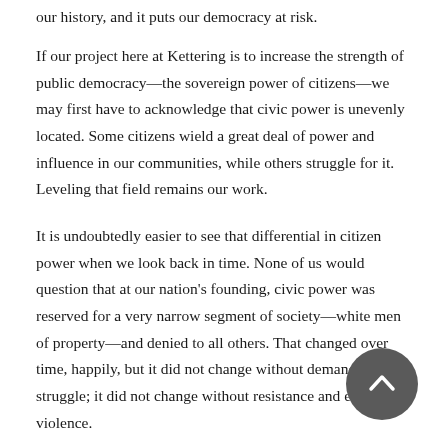our history, and it puts our democracy at risk.
If our project here at Kettering is to increase the strength of public democracy—the sovereign power of citizens—we may first have to acknowledge that civic power is unevenly located. Some citizens wield a great deal of power and influence in our communities, while others struggle for it. Leveling that field remains our work.
It is undoubtedly easier to see that differential in citizen power when we look back in time. None of us would question that at our nation's founding, civic power was reserved for a very narrow segment of society—white men of property—and denied to all others. That changed over time, happily, but it did not change without demand and struggle; it did not change without resistance and even violence.
That history, our history, provides important context for where